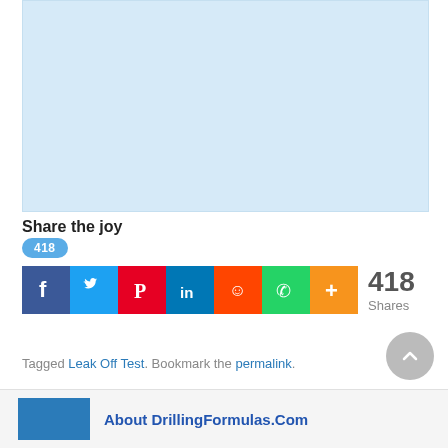[Figure (other): Light blue rectangular placeholder image area]
Share the joy
[Figure (infographic): Social sharing widget showing 418 shares with icons for Facebook, Twitter, Pinterest, LinkedIn, Reddit, WhatsApp, and More (+), plus 418 Shares count]
Tagged Leak Off Test. Bookmark the permalink.
About DrillingFormulas.Com